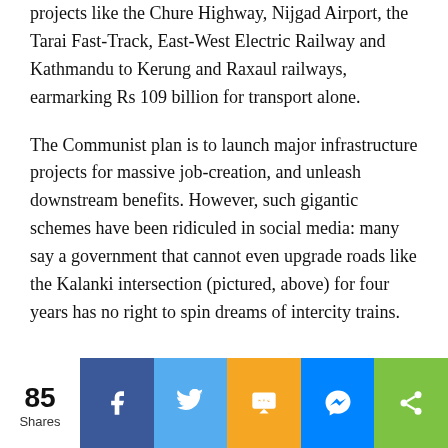projects like the Chure Highway, Nijgad Airport, the Tarai Fast-Track, East-West Electric Railway and Kathmandu to Kerung and Raxaul railways, earmarking Rs 109 billion for transport alone.
The Communist plan is to launch major infrastructure projects for massive job-creation, and unleash downstream benefits. However, such gigantic schemes have been ridiculed in social media: many say a government that cannot even upgrade roads like the Kalanki intersection (pictured, above) for four years has no right to spin dreams of intercity trains.
85 Shares